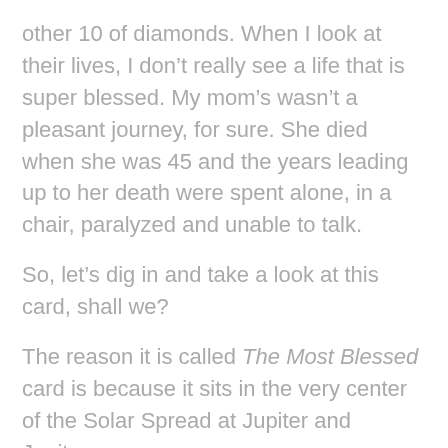other 10 of diamonds. When I look at their lives, I don't really see a life that is super blessed. My mom's wasn't a pleasant journey, for sure. She died when she was 45 and the years leading up to her death were spent alone, in a chair, paralyzed and unable to talk.
So, let's dig in and take a look at this card, shall we?
The reason it is called The Most Blessed card is because it sits in the very center of the Solar Spread at Jupiter and Jupiter.
♦ ♦ ♦ ♦ ♦ ♦ ♦